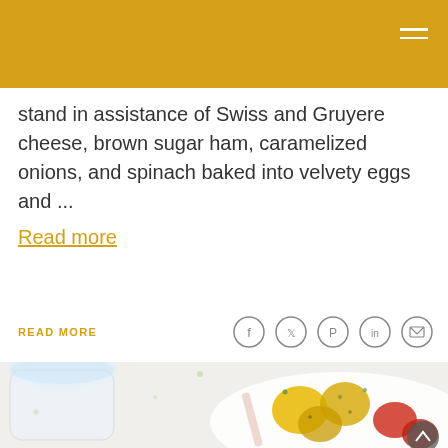stand in assistance of Swiss and Gruyere cheese, brown sugar ham, caramelized onions, and spinach baked into velvety eggs and ...
Read more
READ MORE
[Figure (photo): Social media share icons: Facebook, Twitter, Pinterest, LinkedIn, Email — circular outlined icons in gray]
[Figure (photo): Food photograph showing a white plate with yellow and red cherry tomatoes garnished with herbs, and a glass jar with clear liquid on the left side, viewed from above on a white background]